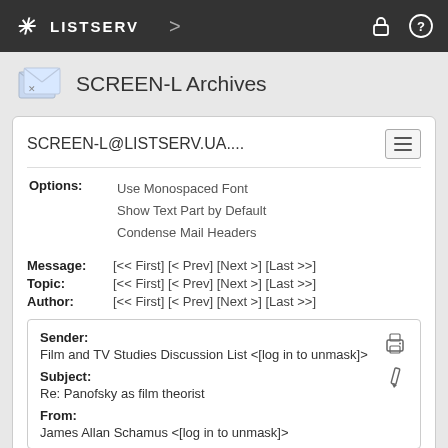LISTSERV
SCREEN-L Archives
SCREEN-L@LISTSERV.UA....
Options: Use Monospaced Font
Show Text Part by Default
Condense Mail Headers
Message: [<< First] [< Prev] [Next >] [Last >>]
Topic: [<< First] [< Prev] [Next >] [Last >>]
Author: [<< First] [< Prev] [Next >] [Last >>]
Sender:
Film and TV Studies Discussion List <[log in to unmask]>
Subject:
Re: Panofsky as film theorist
From:
James Allan Schamus <[log in to unmask]>